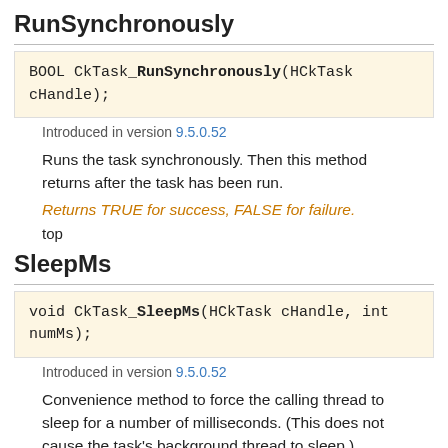RunSynchronously
BOOL CkTask_RunSynchronously(HCkTask cHandle);
Introduced in version 9.5.0.52
Runs the task synchronously. Then this method returns after the task has been run.
Returns TRUE for success, FALSE for failure.
top
SleepMs
void CkTask_SleepMs(HCkTask cHandle, int numMs);
Introduced in version 9.5.0.52
Convenience method to force the calling thread to sleep for a number of milliseconds. (This does not cause the task's background thread to sleep.)